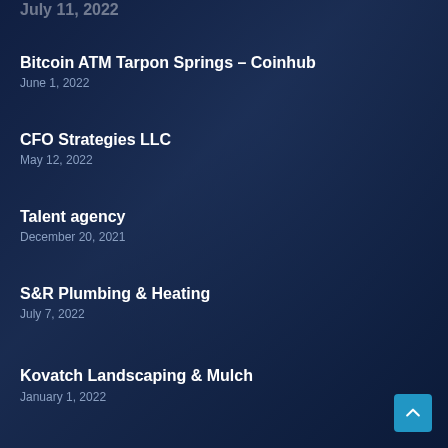(partial, clipped top entry date)
Bitcoin ATM Tarpon Springs – Coinhub
June 1, 2022
CFO Strategies LLC
May 12, 2022
Talent agency
December 20, 2021
S&R Plumbing & Heating
July 7, 2022
Kovatch Landscaping & Mulch
January 1, 2022